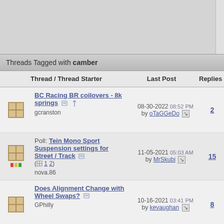Threads Tagged with camber
|  | Thread / Thread Starter | Last Post | Replies | Views | Fo |
| --- | --- | --- | --- | --- | --- |
| [icon] | BC Racing BR coilovers - 8k springs
gcranston | 08-30-2022 08:52 PM
by oTaGGeDo | 2 | 333 | B S C |
| [icon] | Poll: Tein Mono Sport Suspension settings for Street / Track (1 2)
nova.86 | 11-05-2021 05:03 AM
by MrSkubi | 15 | 1,436 | S C B S b R |
| [icon] | Does Alignment Change with Wheel Swaps?
GPhilly | 10-16-2021 03:41 PM
by kevaughan | 8 | 765 | W T S H S b R |
| [icon] | ... |  |  |  | S T |